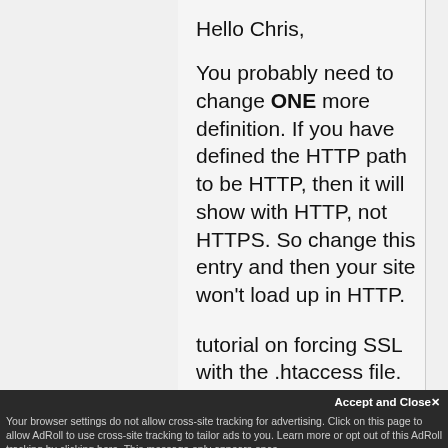Hello Chris,
You probably need to change ONE more definition. If you have defined the HTTP path to be HTTP, then it will show with HTTP, not HTTPS. So change this entry and then your site won't load up in HTTP.
tutorial on forcing SSL with the .htaccess file.
Kindest regards,
Arnel C.
Accept and Close
Your browser settings do not allow cross-site tracking for advertising. Click on this page to allow AdRoll to use cross-site tracking to tailor ads to you. Learn more or opt out of this AdRoll tracking by clicking here. This message only appears once.